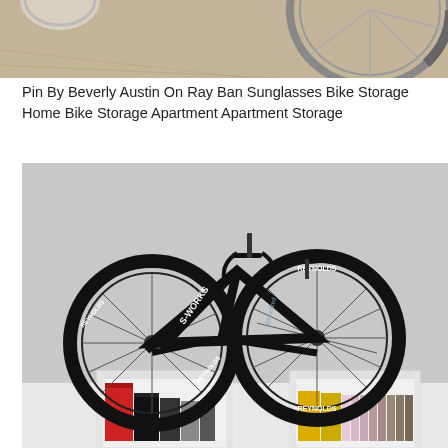[Figure (photo): Partial view of a bicycle wheel and frame, tan/beige background]
Pin By Beverly Austin On Ray Ban Sunglasses Bike Storage Home Bike Storage Apartment Apartment Storage
[Figure (photo): A black Specialized S-Works road bicycle with Reynolds wheels mounted on top of two white cube bookshelves containing books and DVDs, against a grey background]